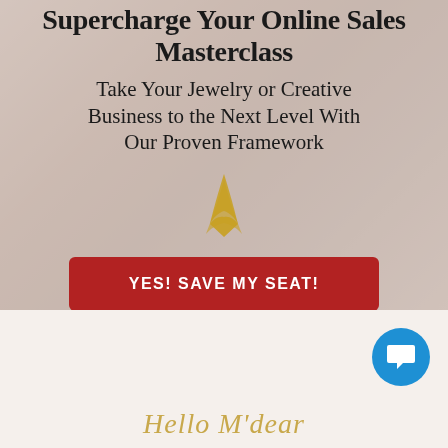Supercharge Your Online Sales Masterclass
Take Your Jewelry or Creative Business to the Next Level With Our Proven Framework
[Figure (illustration): A golden decorative arrow pointing downward]
YES! SAVE MY SEAT!
[Figure (illustration): Blue circular chat/messenger button icon in the bottom right corner]
Hello M'dear (cursive signature text in gold)